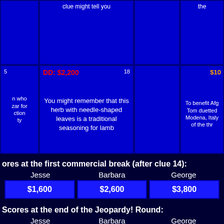[Figure (other): Top row of Jeopardy game board, partially visible, showing clue cells with blue background]
[Figure (other): Second row of Jeopardy game board showing clue number 5, DD: $2,200 clue 18, empty cell, and $10... cell with clue text about rosemary herb and Afghanistan benefit concert]
Scores at the first commercial break (after clue 14):
| Jesse | Barbara | George |
| --- | --- | --- |
| $1,600 | $2,600 | $3,800 |
Scores at the end of the Jeopardy! Round:
| Jesse | Barbara | George |
| --- | --- | --- |
| $7,400 | $4,200 | $5,000 |